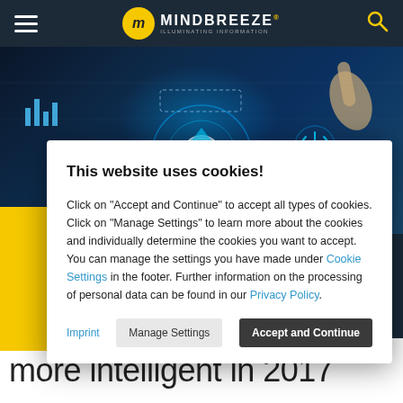MINDBREEZE — ILLUMINATING INFORMATION
[Figure (photo): Hero banner showing a hand touching a glowing digital interface with blue circuit elements and icons on dark background]
This website uses cookies!
Click on 'Accept and Continue' to accept all types of cookies. Click on 'Manage Settings' to learn more about the cookies and individually determine the cookies you want to accept. You can manage the settings you have made under Cookie Settings in the footer. Further information on the processing of personal data can be found in our Privacy Policy.
Imprint | Manage Settings | Accept and Continue
more intelligent in 2017